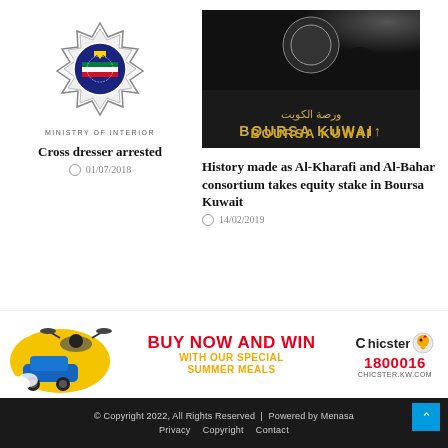[Figure (logo): Kuwait Police Ministry of Interior badge/logo - ornate police star badge with Kuwait flag colors]
MINISTRY OF INTERIOR
Cross dresser arrested
01/07/2018
[Figure (photo): Boursa Kuwait stock exchange building sign with Arabic and English text, gold lettering on dark background]
History made as Al-Kharafi and Al-Bahar consortium takes equity stake in Boursa Kuwait
14/02/2019
[Figure (infographic): Chicster advertisement banner - BUY NOW AND WIN WITH OUR SPECIAL SUMMER MEALS, showing drone and RC car images]
© Copyright 2022, All Rights Reserved  |  Powered by Menasa
Privacy   Copyright   Contact